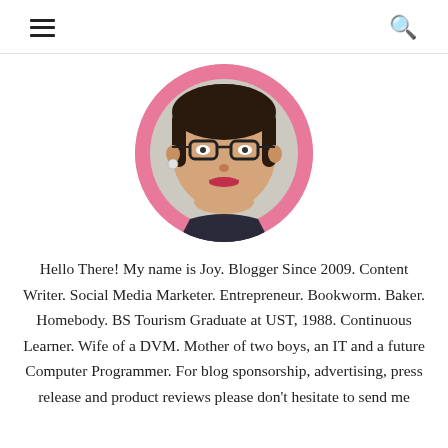≡  🔍
[Figure (photo): Circular profile photo of a woman wearing glasses and a dark patterned top, smiling, set against a pink circular background.]
Hello There! My name is Joy. Blogger Since 2009. Content Writer. Social Media Marketer. Entrepreneur. Bookworm. Baker. Homebody. BS Tourism Graduate at UST, 1988. Continuous Learner. Wife of a DVM. Mother of two boys, an IT and a future Computer Programmer. For blog sponsorship, advertising, press release and product reviews please don't hesitate to send me